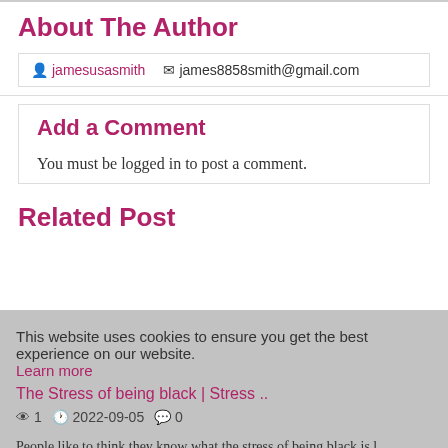About The Author
🧑 jamesusasmith  ✉ james8858smith@gmail.com
Add a Comment
You must be logged in to post a comment.
Related Post
This website uses cookies to ensure you get the best experience on our website.
The Stress of being black | Stress ..
👁 1  🕐 2022-09-05  💬 0
People like to think they know what the stress of being black is l...
Got it!
Fitness Expert Mum Talks About Post..